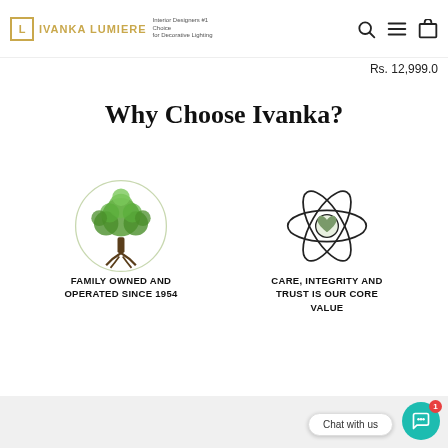IVANKA LUMIERE — Interior Designers #1 Choice for Decorative Lighting
Rs. 12,999.0
Why Choose Ivanka?
[Figure (illustration): Tree with roots illustration inside a circle — Family Owned and Operated Since 1954]
FAMILY OWNED AND OPERATED SINCE 1954
[Figure (illustration): Atomic/orbital symbol with heart in center — Care, Integrity and Trust is Our Core Value]
CARE, INTEGRITY AND TRUST IS OUR CORE VALUE